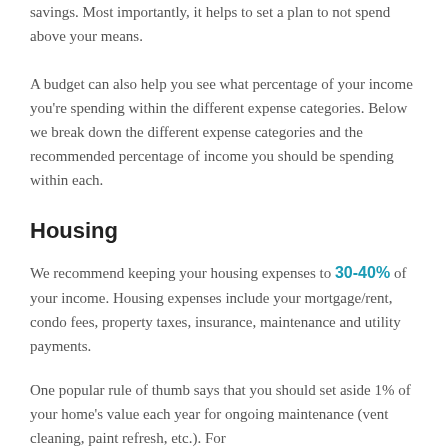savings. Most importantly, it helps to set a plan to not spend above your means.
A budget can also help you see what percentage of your income you're spending within the different expense categories. Below we break down the different expense categories and the recommended percentage of income you should be spending within each.
Housing
We recommend keeping your housing expenses to 30-40% of your income. Housing expenses include your mortgage/rent, condo fees, property taxes, insurance, maintenance and utility payments.
One popular rule of thumb says that you should set aside 1% of your home's value each year for ongoing maintenance (vent cleaning, paint refresh, etc.). For